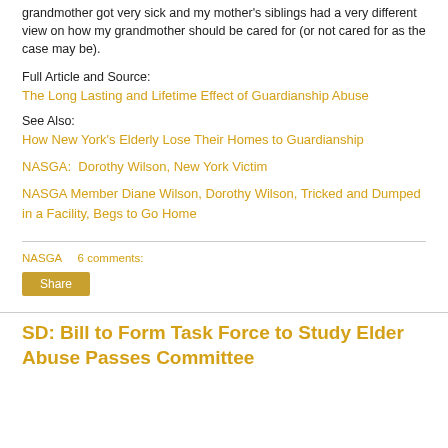grandmother got very sick and my mother's siblings had a very different view on how my grandmother should be cared for (or not cared for as the case may be).
Full Article and Source:
The Long Lasting and Lifetime Effect of Guardianship Abuse
See Also:
How New York's Elderly Lose Their Homes to Guardianship
NASGA:  Dorothy Wilson, New York Victim
NASGA Member Diane Wilson, Dorothy Wilson, Tricked and Dumped in a Facility, Begs to Go Home
NASGA    6 comments:
Share
SD: Bill to Form Task Force to Study Elder Abuse Passes Committee